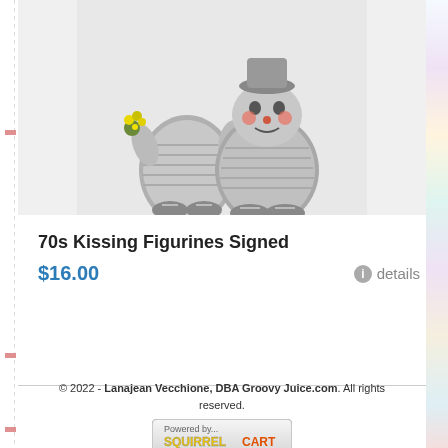[Figure (photo): Two ceramic figurines from the 1970s shown from waist down, appearing to be kissing. They are grey/silver colored with textured clothing. One holds yellow flowers. White background.]
70s Kissing Figurines Signed
$16.00
details
© 2022 - Lanajean Vecchione, DBA Groovy Juice.com. All rights reserved.